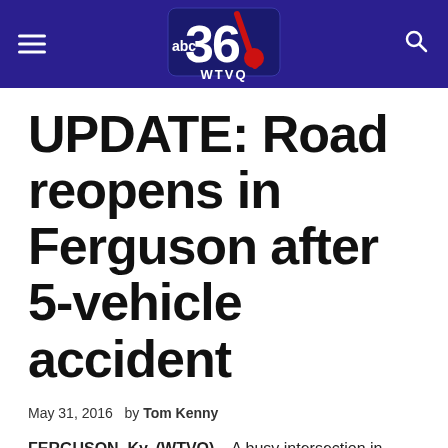[Figure (logo): ABC 36 WTVQ TV station logo with hamburger menu and search icon on dark blue/purple header bar]
UPDATE: Road reopens in Ferguson after 5-vehicle accident
May 31, 2016  by Tom Kenny
FERGUSON, Ky. (WTVQ) – A busy intersection in Ferguson in Pulaski County reopened Tuesday evening, hours after being closed due to a five vehicle accident that included injur…